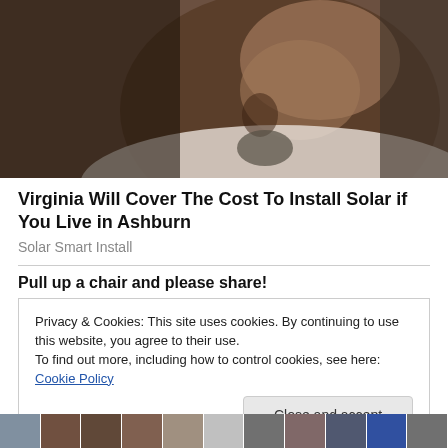[Figure (photo): Close-up portrait of an older Black man with gray goatee, wearing a white shirt, looking slightly downward]
Virginia Will Cover The Cost To Install Solar if You Live in Ashburn
Solar Smart Install
Pull up a chair and please share!
Privacy & Cookies: This site uses cookies. By continuing to use this website, you agree to their use.
To find out more, including how to control cookies, see here: Cookie Policy
[Figure (photo): Row of small thumbnail photos at the bottom of the page]